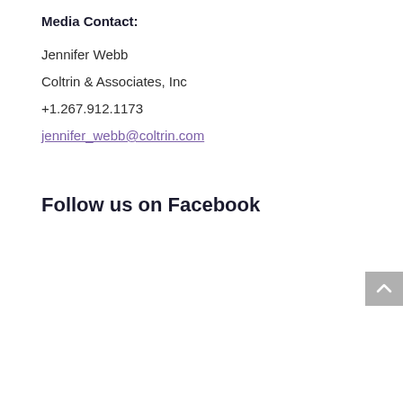Media Contact:
Jennifer Webb
Coltrin & Associates, Inc
+1.267.912.1173
jennifer_webb@coltrin.com
Follow us on Facebook